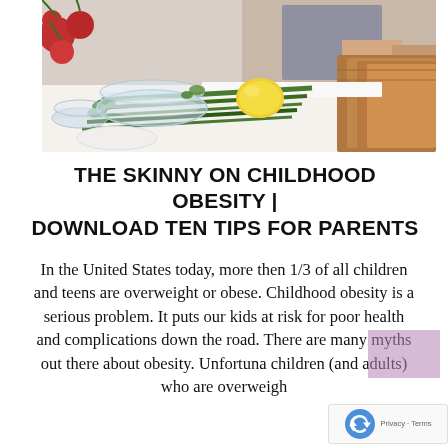[Figure (photo): A kitchen scene with someone chopping on a wooden cutting board, green onions/scallions, a lemon, glass bowls with ingredients, and fresh vegetables including radishes on a white countertop.]
THE SKINNY ON CHILDHOOD OBESITY | DOWNLOAD TEN TIPS FOR PARENTS
In the United States today, more then 1/3 of all children and teens are overweight or obese. Childhood obesity is a serious problem. It puts our kids at risk for poor health and complications down the road. There are many myths out there about obesity. Unfortuna[tely,] children (and adults) who are overweigh[t]